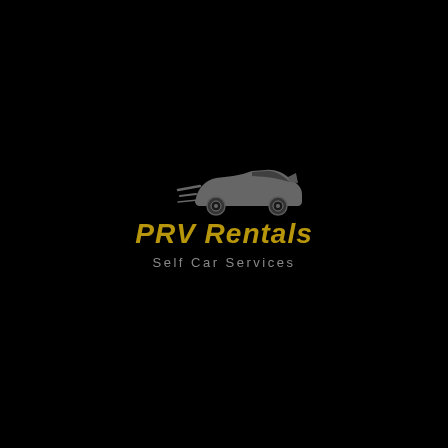[Figure (logo): PRV Rentals logo: a stylized grey sports car silhouette with speed lines on a black background, with the text 'PRV Rentals' in gold italic bold font and 'Self Car Services' in grey below]
PRV Rentals
Self Car Services